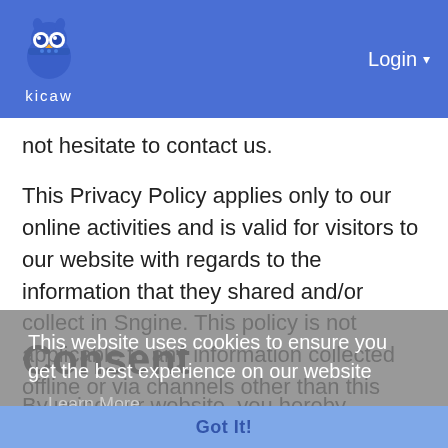kicaw | Login
not hesitate to contact us.
This Privacy Policy applies only to our online activities and is valid for visitors to our website with regards to the information that they shared and/or collect in Sngine. This policy is not applicable to any information collected offline or via channels other than this website.
Consent
By using our website, you hereby consent to our Privacy Policy and agree to its terms.
This website uses cookies to ensure you get the best experience on our website
Learn More
Got It!